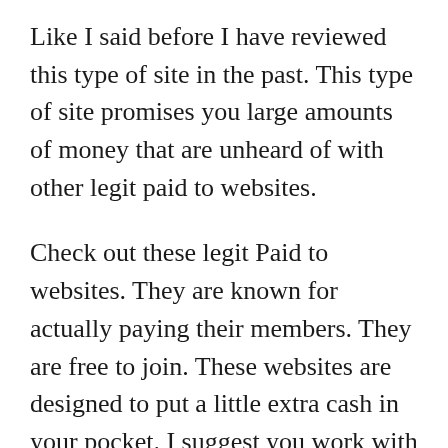Like I said before I have reviewed this type of site in the past. This type of site promises you large amounts of money that are unheard of with other legit paid to websites.
Check out these legit Paid to websites. They are known for actually paying their members. They are free to join. These websites are designed to put a little extra cash in your pocket. I suggest you work with all of them. Never put all your eggs in one basket.